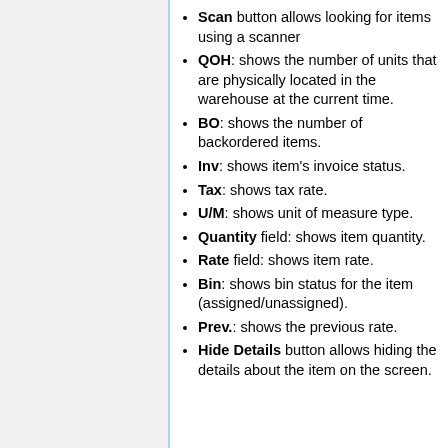Scan button allows looking for items using a scanner
QOH: shows the number of units that are physically located in the warehouse at the current time.
BO: shows the number of backordered items.
Inv: shows item's invoice status.
Tax: shows tax rate.
U/M: shows unit of measure type.
Quantity field: shows item quantity.
Rate field: shows item rate.
Bin: shows bin status for the item (assigned/unassigned).
Prev.: shows the previous rate.
Hide Details button allows hiding the details about the item on the screen.